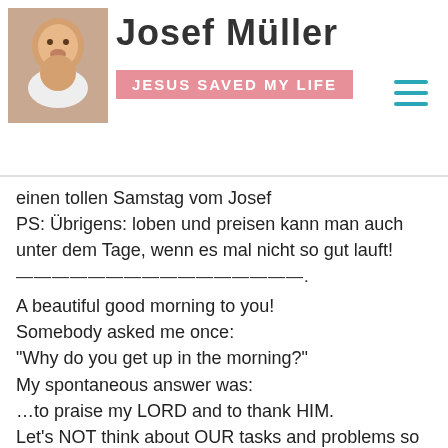Josef Müller - JESUS SAVED MY LIFE
einen tollen Samstag vom Josef
PS: Übrigens: loben und preisen kann man auch unter dem Tage, wenn es mal nicht so gut lauft!
————————————————.
A beautiful good morning to you!
Somebody asked me once:
"Why do you get up in the morning?"
My spontaneous answer was:
…to praise my LORD and to thank HIM.
Let's NOT think about OUR tasks and problems so early in the morning. They will come soon enough!